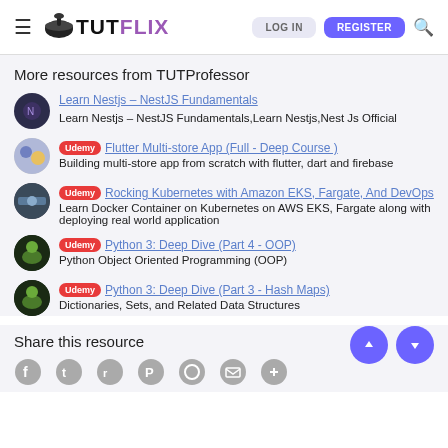TUTFLIX – LOG IN – REGISTER
More resources from TUTProfessor
Learn Nestjs – NestJS Fundamentals
Learn Nestjs – NestJS Fundamentals,Learn Nestjs,Nest Js Official
Udemy Flutter Multi-store App (Full - Deep Course )
Building multi-store app from scratch with flutter, dart and firebase
Udemy Rocking Kubernetes with Amazon EKS, Fargate, And DevOps
Learn Docker Container on Kubernetes on AWS EKS, Fargate along with deploying real world application
Udemy Python 3: Deep Dive (Part 4 - OOP)
Python Object Oriented Programming (OOP)
Udemy Python 3: Deep Dive (Part 3 - Hash Maps)
Dictionaries, Sets, and Related Data Structures
Share this resource
[Figure (infographic): Social share icons: Facebook, Twitter, Reddit, Pinterest, WhatsApp, Email, Link]